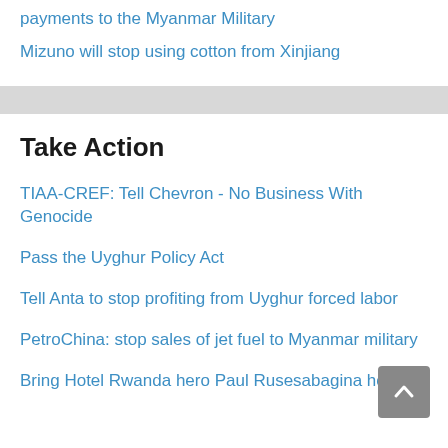payments to the Myanmar Military
Mizuno will stop using cotton from Xinjiang
Take Action
TIAA-CREF: Tell Chevron - No Business With Genocide
Pass the Uyghur Policy Act
Tell Anta to stop profiting from Uyghur forced labor
PetroChina: stop sales of jet fuel to Myanmar military
Bring Hotel Rwanda hero Paul Rusesabagina home